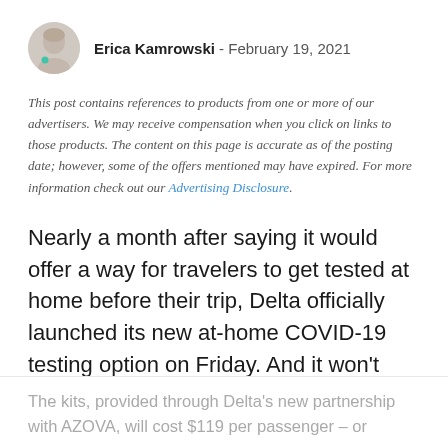Erica Kamrowski - February 19, 2021
This post contains references to products from one or more of our advertisers. We may receive compensation when you click on links to those products. The content on this page is accurate as of the posting date; however, some of the offers mentioned may have expired. For more information check out our Advertising Disclosure.
Nearly a month after saying it would offer a way for travelers to get tested at home before their trip, Delta officially launched its new at-home COVID-19 testing option on Friday. And it won't come cheap.
The kits, provided through Delta's new partnership with AZOVA, will cost $119 per passenger – or